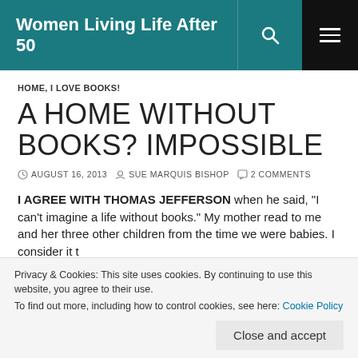Women Living Life After 50
HOME, I LOVE BOOKS!
A HOME WITHOUT BOOKS? IMPOSSIBLE
AUGUST 16, 2013   SUE MARQUIS BISHOP   2 COMMENTS
I AGREE WITH THOMAS JEFFERSON when he said, “I can’t imagine a life without books.” My mother read to me and her three other children from the time we were babies. I consider it
I received my first library card as a preschooler. As I looked up
Privacy & Cookies: This site uses cookies. By continuing to use this website, you agree to their use.
To find out more, including how to control cookies, see here: Cookie Policy
Close and accept